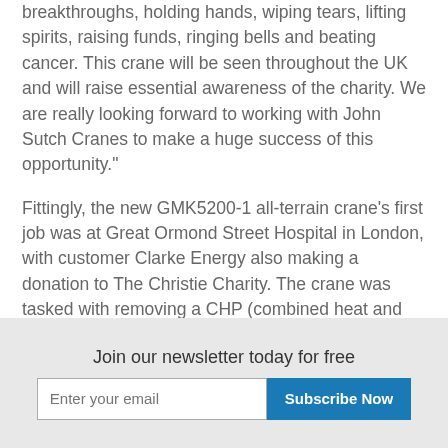breakthroughs, holding hands, wiping tears, lifting spirits, raising funds, ringing bells and beating cancer. This crane will be seen throughout the UK and will raise essential awareness of the charity. We are really looking forward to working with John Sutch Cranes to make a huge success of this opportunity."
Fittingly, the new GMK5200-1 all-terrain crane's first job was at Great Ormond Street Hospital in London, with customer Clarke Energy also making a donation to The Christie Charity. The crane was tasked with removing a CHP (combined heat and power) generator for its 60,000 hour service and will return in a few weeks to replace it.
Join our newsletter today for free